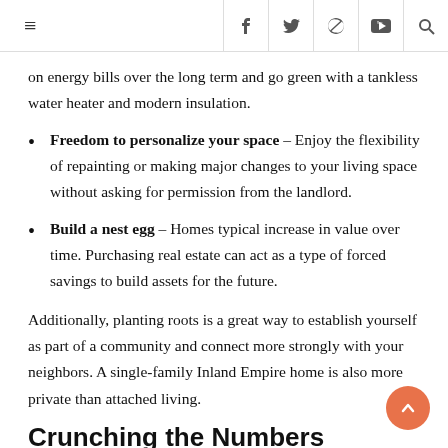☰  f  y  ℗  YouTube  🔍
on energy bills over the long term and go green with a tankless water heater and modern insulation.
Freedom to personalize your space – Enjoy the flexibility of repainting or making major changes to your living space without asking for permission from the landlord.
Build a nest egg – Homes typical increase in value over time. Purchasing real estate can act as a type of forced savings to build assets for the future.
Additionally, planting roots is a great way to establish yourself as part of a community and connect more strongly with your neighbors. A single-family Inland Empire home is also more private than attached living.
Crunching the Numbers